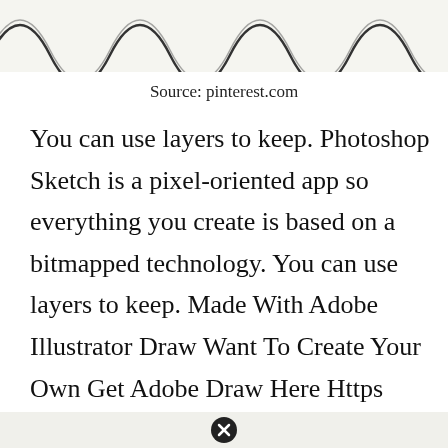[Figure (illustration): Decorative handwritten/cursive squiggly lines forming a pattern, shown partially at top of page, on a light beige background]
Source: pinterest.com
You can use layers to keep. Photoshop Sketch is a pixel-oriented app so everything you create is based on a bitmapped technology. You can use layers to keep. Made With Adobe Illustrator Draw Want To Create Your Own Get Adobe Draw Here Https Adobe Ly Draw.
[Figure (other): Close/dismiss button icon (circled X) in a light gray footer bar at the bottom of the page]